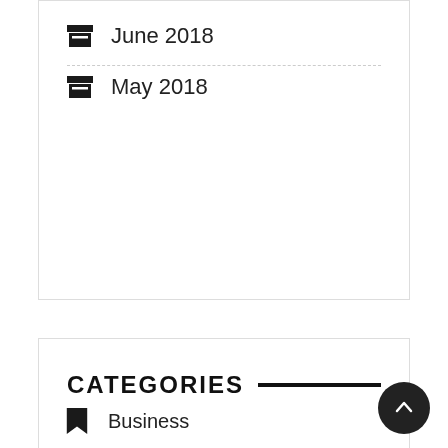June 2018
May 2018
CATEGORIES
Business
Local News
Marketing
Sports